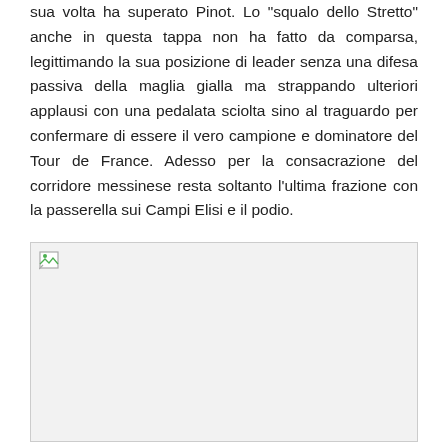sua volta ha superato Pinot. Lo "squalo dello Stretto" anche in questa tappa non ha fatto da comparsa, legittimando la sua posizione di leader senza una difesa passiva della maglia gialla ma strappando ulteriori applausi con una pedalata sciolta sino al traguardo per confermare di essere il vero campione e dominatore del Tour de France. Adesso per la consacrazione del corridore messinese resta soltanto l'ultima frazione con la passerella sui Campi Elisi e il podio.
[Figure (photo): Placeholder image with broken image icon in top-left corner, light grey background]